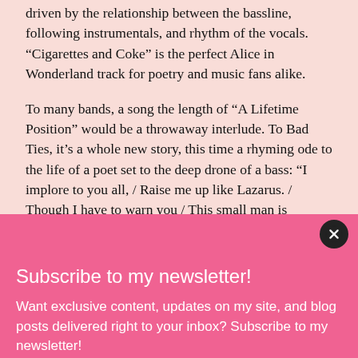driven by the relationship between the bassline, following instrumentals, and rhythm of the vocals. “Cigarettes and Coke” is the perfect Alice in Wonderland track for poetry and music fans alike.
To many bands, a song the length of “A Lifetime Position” would be a throwaway interlude. To Bad Ties, it’s a whole new story, this time a rhyming ode to the life of a poet set to the deep drone of a bass: “I implore to you all, / Raise me up like Lazarus. / Though I have to warn you / This small man is hazardous. / Loud, quiet, / Sunk low, stuck in this canyon. / Committed for life. / The next D’Artagnan.”
Subscribe to my newsletter!
Want exclusive content, updates on my site, and blog posts delivered right to your inbox? Subscribe to my newsletter!